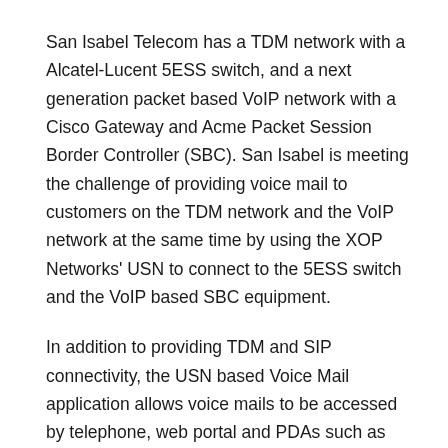San Isabel Telecom has a TDM network with a Alcatel-Lucent 5ESS switch, and a next generation packet based VoIP network with a Cisco Gateway and Acme Packet Session Border Controller (SBC). San Isabel is meeting the challenge of providing voice mail to customers on the TDM network and the VoIP network at the same time by using the XOP Networks' USN to connect to the 5ESS switch and the VoIP based SBC equipment.
In addition to providing TDM and SIP connectivity, the USN based Voice Mail application allows voice mails to be accessed by telephone, web portal and PDAs such as iPhone and Blackberry. The PDA access is unique in that voice mails can be accessed in random order simply by a click on the PDA